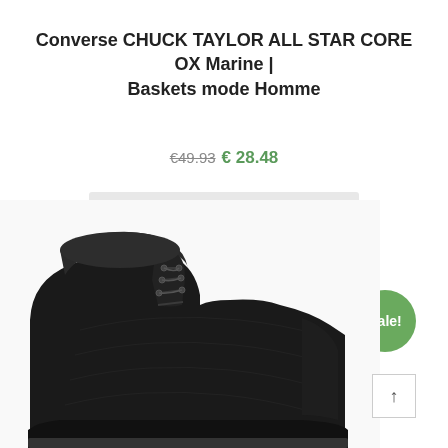Converse CHUCK TAYLOR ALL STAR CORE OX Marine | Baskets mode Homme
€49.93 € 28.48
CHOIX DES OPTIONS
[Figure (photo): Dark navy/black high-top Converse sneaker shown from the side, displaying lacing detail and suede/nubuck upper texture]
Sale!